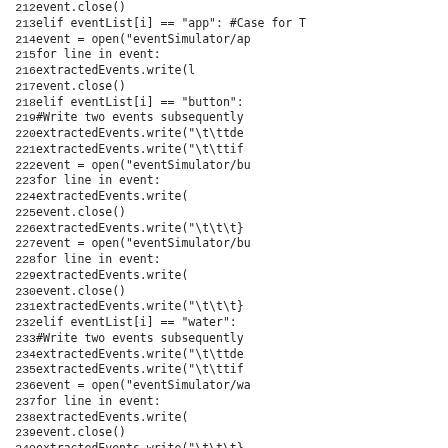[Figure (screenshot): Source code listing showing Python code lines 212-243, involving event handling with conditions for 'app', 'button', and 'water' event types, using extractedEvents.write() and file open/close operations.]